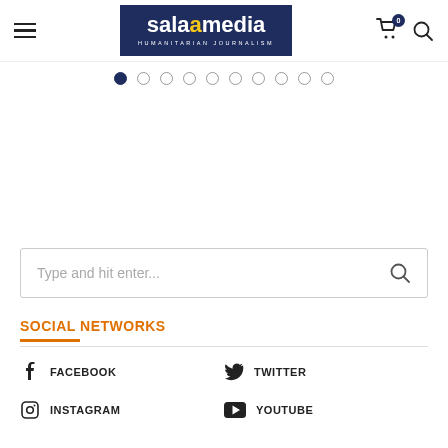[Figure (logo): Salaam Media logo — dark navy background with white bold text 'salaamedia', yellow 'm', subtitle 'HUMANITARIAN JOURNALISM' in small caps]
[Figure (infographic): Carousel pagination dots — 10 dots, first is filled navy, rest are empty circles]
[Figure (infographic): Search bar with placeholder text 'Type and hit enter...' and a search icon on the right]
SOCIAL NETWORKS
FACEBOOK
TWITTER
INSTAGRAM
YOUTUBE